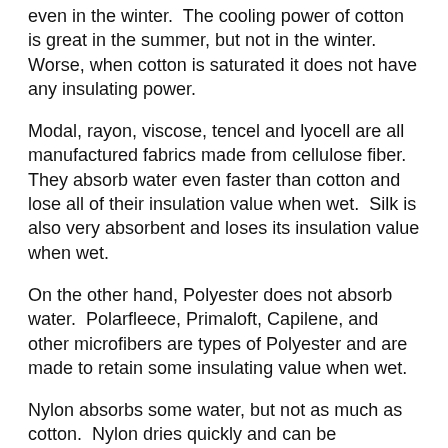even in the winter.  The cooling power of cotton  is great in the summer, but not in the winter.  Worse, when cotton is saturated it does not have any insulating power.
Modal, rayon, viscose, tencel and lyocell are all manufactured fabrics made from cellulose fiber.  They absorb water even faster than cotton and lose all of their insulation value when wet.  Silk is also very absorbent and loses its insulation value when wet.
On the other hand, Polyester does not absorb water.  Polarfleece, Primaloft, Capilene, and other microfibers are types of Polyester and are made to retain some insulating value when wet.
Nylon absorbs some water, but not as much as cotton.  Nylon dries quickly and can be engineered to retain warmth even when wet.
Wool is good in cold weather, it retains warmth